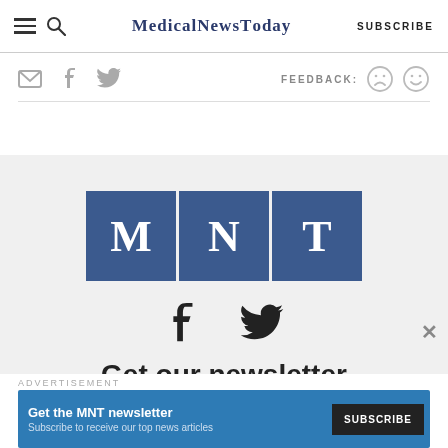MedicalNewsToday SUBSCRIBE
[Figure (screenshot): Social share icons: email, facebook, twitter on left; FEEDBACK with sad and happy face icons on right]
[Figure (logo): MNT logo: three blue squares with letters M, N, T in white serif font]
[Figure (infographic): Footer social icons: facebook and twitter]
Get our newsletter
ADVERTISEMENT
[Figure (screenshot): Ad banner: Get the MNT newsletter - Subscribe to receive our top news articles - SUBSCRIBE button]